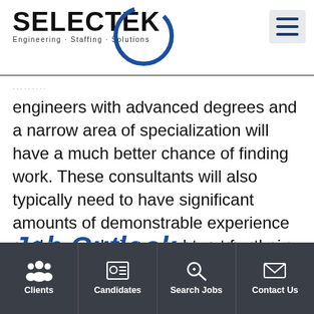[Figure (logo): SELECTEK Engineering Staffing Solutions logo with blue circle and text]
engineers with advanced degrees and a narrow area of specialization will have a much better chance of finding work. These consultants will also typically need to have significant amounts of demonstrable experience as they are being sought out for their unique expertise.
Job Outlook
According to the American Society for Mechanical Engineers, engineering consulting is bouncing
Clients | Candidates | Search Jobs | Contact Us